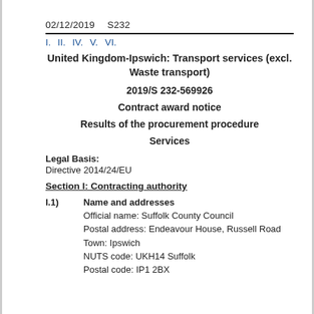02/12/2019   S232
I.  II.  IV.  V.  VI.
United Kingdom-Ipswich: Transport services (excl. Waste transport)
2019/S 232-569926
Contract award notice
Results of the procurement procedure
Services
Legal Basis:
Directive 2014/24/EU
Section I: Contracting authority
I.1)  Name and addresses
Official name: Suffolk County Council
Postal address: Endeavour House, Russell Road
Town: Ipswich
NUTS code: UKH14 Suffolk
Postal code: IP1 2BX